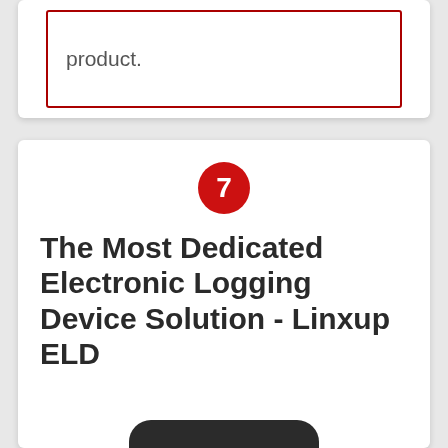product.
[Figure (other): Red circle badge with number 7]
The Most Dedicated Electronic Logging Device Solution - Linxup ELD
[Figure (photo): Black Linxup ELD device with GPS and PWR indicator lights]